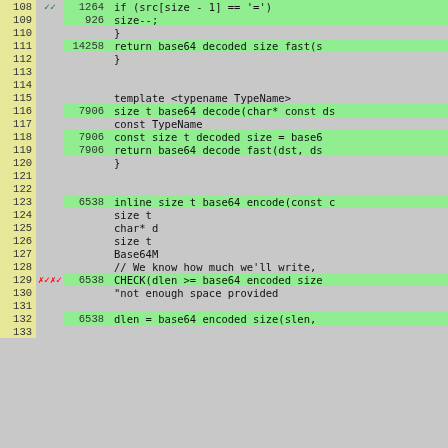[Figure (screenshot): Code coverage view showing C++ source lines 108-133 with line numbers, coverage markers, hit counts, and code content. Green highlighted rows indicate covered lines.]